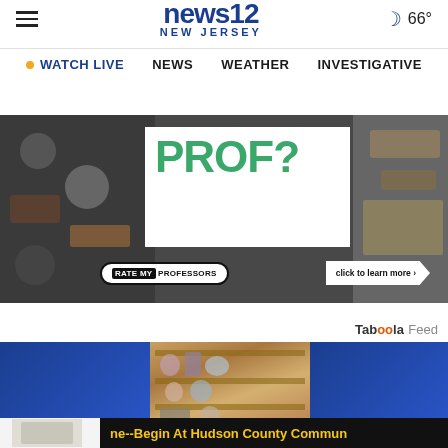news12 NEW JERSEY | WATCH LIVE | NEWS | WEATHER | INVESTIGATIVE | CO
[Figure (screenshot): Advertisement banner for Rate My Professors featuring 'PROF?' text in green and a 'click to learn more' button]
Taboola Feed
[Figure (photo): Three-panel feed row with blue panels on left and right, center shows antiques/collectibles shop photo]
[Figure (screenshot): Bottom ad for Hudson County Community College with text: ne--Begin At Hudson County Commun]
ne--Begin At Hudson County Commun